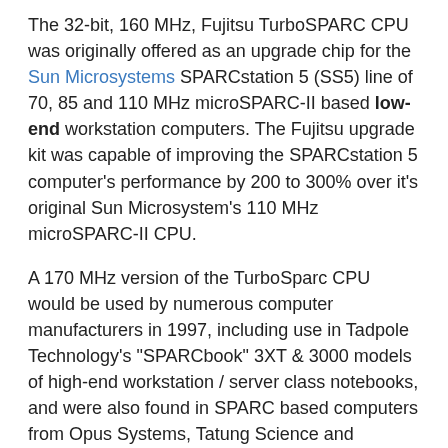The 32-bit, 160 MHz, Fujitsu TurboSPARC CPU was originally offered as an upgrade chip for the Sun Microsystems SPARCstation 5 (SS5) line of 70, 85 and 110 MHz microSPARC-II based low-end workstation computers. The Fujitsu upgrade kit was capable of improving the SPARCstation 5 computer's performance by 200 to 300% over it's original Sun Microsystem's 110 MHz microSPARC-II CPU.
A 170 MHz version of the TurboSparc CPU would be used by numerous computer manufacturers in 1997, including use in Tadpole Technology's "SPARCbook" 3XT & 3000 models of high-end workstation / server class notebooks, and were also found in SPARC based computers from Opus Systems, Tatung Science and Technology, Themis Computers, Force Computers, Fujitsu Computers, RDI Computer and others.
The 3.0 million transistor TurboSPARC CPU featured 256KB of external Level 2 cache, and was